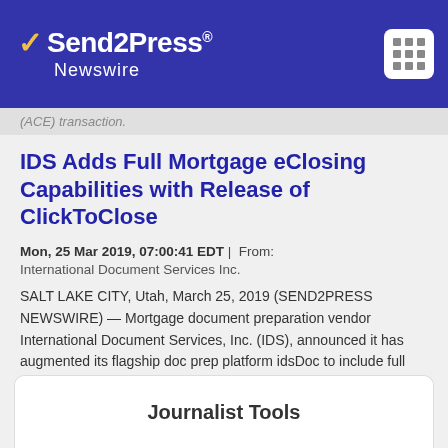[Figure (logo): Send2Press Newswire logo in white on dark blue header bar with menu icon]
(ACE) transaction.
IDS Adds Full Mortgage eClosing Capabilities with Release of ClickToClose
Mon, 25 Mar 2019, 07:00:41 EDT | From: International Document Services Inc.
SALT LAKE CITY, Utah, March 25, 2019 (SEND2PRESS NEWSWIRE) — Mortgage document preparation vendor International Document Services, Inc. (IDS), announced it has augmented its flagship doc prep platform idsDoc to include full eClosing capabilities through a new service called ClickToClose.
Journalist Tools